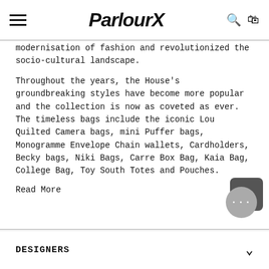ParlourX
modernisation of fashion and revolutionized the socio-cultural landscape.
Throughout the years, the House's groundbreaking styles have become more popular and the collection is now as coveted as ever. The timeless bags include the iconic Lou Quilted Camera bags, mini Puffer bags, Monogramme Envelope Chain wallets, Cardholders, Becky bags, Niki Bags, Carre Box Bag, Kaia Bag, College Bag, Toy South Totes and Pouches.
Read More
DESIGNERS